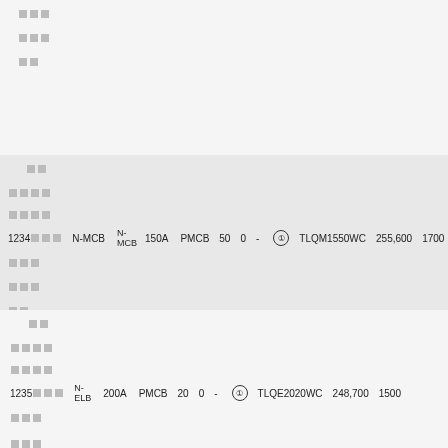| □□□ |  |  |  |  |  |  |  |  |  |
| □□□ |  |  |  |  |  |  |  |  |  |
| □□ |  |  |  |  |  |  |  |  |  |
| □□ | N-MCB | 150A | PMCB | 50 | 0 | - | ① | TLQM1550WC | 255,600 | 1700 |
| □□□□ |  |  |  |  |  |  |  |  |  |
| □□□□ |  |  |  |  |  |  |  |  |  |
| □□□ |  |  |  |  |  |  |  |  |  |
| □□□ |  |  |  |  |  |  |  |  |  |
| □□ |  |  |  |  |  |  |  |  |  |
| □□ | N-ELB | 200A | PMCB | 20 | 0 | - | ① | TLQE2020WC | 248,700 | 1500 |
| □□□□ |  |  |  |  |  |  |  |  |  |
| □□□□ |  |  |  |  |  |  |  |  |  |
| □□□ |  |  |  |  |  |  |  |  |  |
| □□□ |  |  |  |  |  |  |  |  |  |